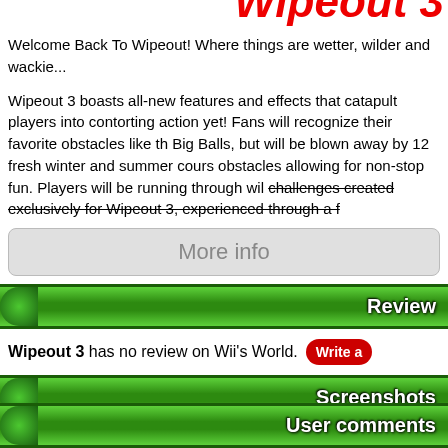Wipeout 3
Welcome Back To Wipeout! Where things are wetter, wilder and wackie...
Wipeout 3 boasts all-new features and effects that catapult players into contorting action yet! Fans will recognize their favorite obstacles like the Big Balls, but will be blown away by 12 fresh winter and summer courses obstacles allowing for non-stop fun. Players will be running through wil challenges created exclusively for Wipeout 3, experienced through a f...
More info
Review
Wipeout 3 has no review on Wii's World. Write a...
Screenshots
[Figure (photo): Screenshot 1: Winter/colorful wipeout course with rainbow and cartoon characters]
[Figure (photo): Screenshot 2: Large snowman obstacle on winter course with player jumping]
[Figure (photo): Screenshot 3: Colorful inflatable obstacle course with characters running]
User comments